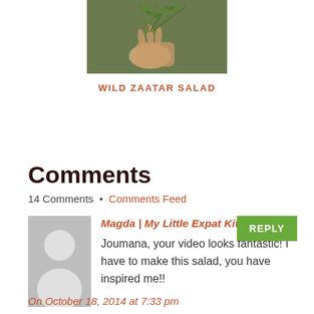[Figure (photo): A hand holding wild zaatar herb sprigs against a green blurred background]
WILD ZAATAR SALAD
Comments
14 Comments • Comments Feed
Magda | My Little Expat Kitchen says:
Joumana, your video looks fantastic! I have to make this salad, you have inspired me!!
On October 18, 2014 at 7:33 pm